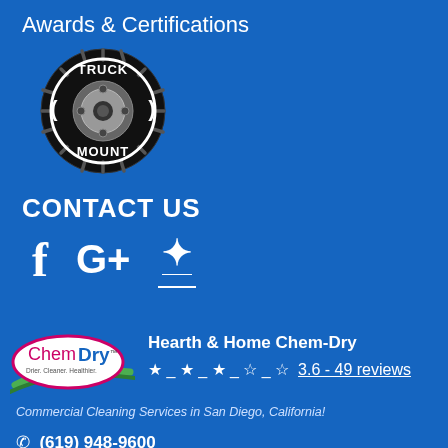Awards & Certifications
[Figure (logo): Truck Mount circular logo badge — black circular badge with tread-like border, text 'TRUCK' at top and 'MOUNT' at bottom, metallic camera/lens element in center]
CONTACT US
[Figure (infographic): Social media icons: Facebook 'f' icon, Google+ 'G+' icon, Yelp icon — all white on blue background]
[Figure (logo): Chem-Dry logo — oval shape with pink/magenta border, green swoosh underneath, text 'Chem-Dry' with tagline 'Drier. Cleaner. Healthier.']
Hearth & Home Chem-Dry
★ _ ★ _ ★ _ ☆ _ ☆  3.6 - 49 reviews
Commercial Cleaning Services in San Diego, California!
(619) 948-9600
Request a FREE QUOTE today